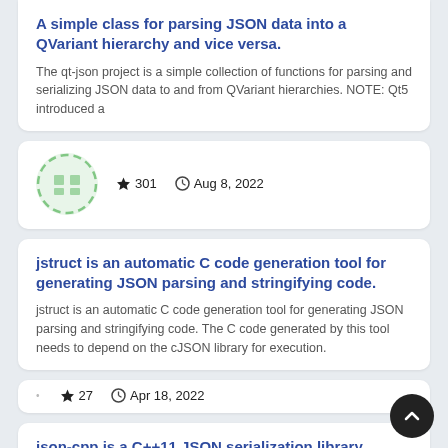A simple class for parsing JSON data into a QVariant hierarchy and vice versa.
The qt-json project is a simple collection of functions for parsing and serializing JSON data to and from QVariant hierarchies. NOTE: Qt5 introduced a
★ 301   🕐 Aug 8, 2022
jstruct is an automatic C code generation tool for generating JSON parsing and stringifying code.
jstruct is an automatic C code generation tool for generating JSON parsing and stringifying code. The C code generated by this tool needs to depend on the cJSON library for execution.
★ 27   🕐 Apr 18, 2022
json-cpp is a C++11 JSON serialization library.